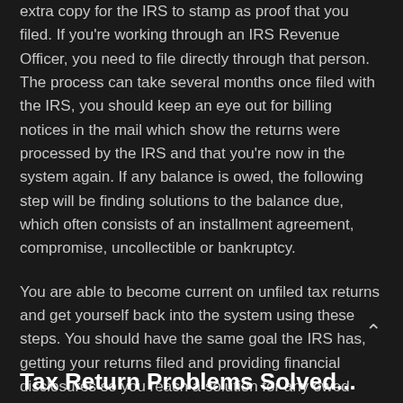extra copy for the IRS to stamp as proof that you filed. If you're working through an IRS Revenue Officer, you need to file directly through that person. The process can take several months once filed with the IRS, you should keep an eye out for billing notices in the mail which show the returns were processed by the IRS and that you're now in the system again. If any balance is owed, the following step will be finding solutions to the balance due, which often consists of an installment agreement, compromise, uncollectible or bankruptcy.
You are able to become current on unfiled tax returns and get yourself back into the system using these steps. You should have the same goal the IRS has, getting your returns filed and providing financial disclosures so you reach a solution for any owed balances.
Tax Return Problems Solved...